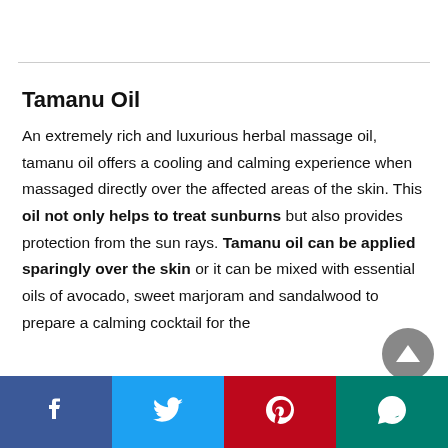Tamanu Oil
An extremely rich and luxurious herbal massage oil, tamanu oil offers a cooling and calming experience when massaged directly over the affected areas of the skin. This oil not only helps to treat sunburns but also provides protection from the sun rays. Tamanu oil can be applied sparingly over the skin or it can be mixed with essential oils of avocado, sweet marjoram and sandalwood to prepare a calming cocktail for the
[Figure (infographic): Social media share buttons bar: Facebook, Twitter, Pinterest, WhatsApp]